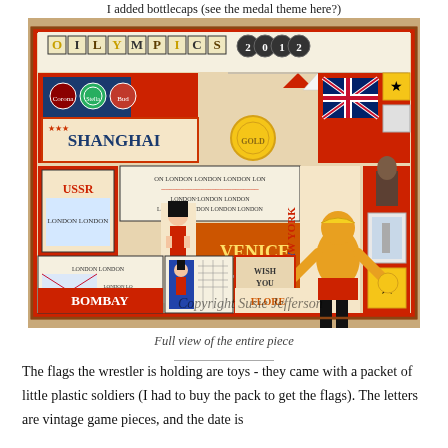I added bottlecaps (see the medal theme here?)
[Figure (photo): Full view of an Olympics 2012 themed shadow box / assemblage art piece containing vintage game letter tiles spelling OLYMPICS 2012, miniature toy soldier figurines, a wrestler toy holding flags, pennant bunting, bottlecaps, city-name labels (Shanghai, Venice, Tokyo, New York, Bombay, Florence, Barcelona, London), medals, and various collectibles. Copyright Susie Jefferson watermark visible.]
Full view of the entire piece
The flags the wrestler is holding are toys - they came with a packet of little plastic soldiers (I had to buy the pack to get the flags). The letters are vintage game pieces, and the date is